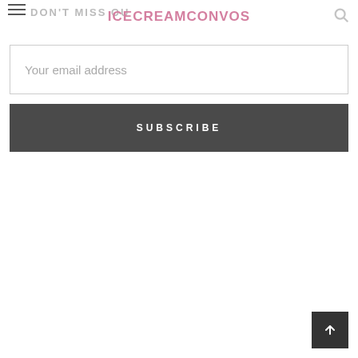DON'T MISS OUT — ICECREAMCONVOS
Your email address
SUBSCRIBE